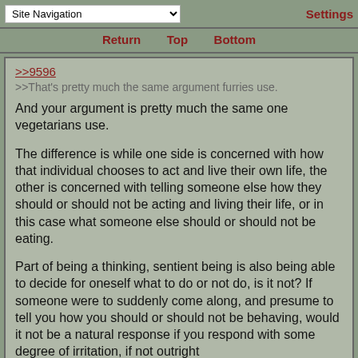Site Navigation | Settings
Return  Top  Bottom
>>9596
>>That's pretty much the same argument furries use.

And your argument is pretty much the same one vegetarians use.

The difference is while one side is concerned with how that individual chooses to act and live their own life, the other is concerned with telling someone else how they should or should not be acting and living their life, or in this case what someone else should or should not be eating.

Part of being a thinking, sentient being is also being able to decide for oneself what to do or not do, is it not? If someone were to suddenly come along, and presume to tell you how you should or should not be behaving, would it not be a natural response if you respond with some degree of irritation, if not outright